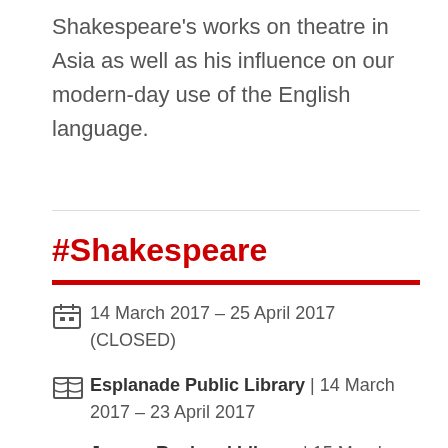Shakespeare's works on theatre in Asia as well as his influence on our modern-day use of the English language.
#Shakespeare
14 March 2017 – 25 April 2017 (CLOSED)
Esplanade Public Library | 14 March 2017 – 23 April 2017
Jurong Regional Library | 15 March 2017 – 24 April 2017